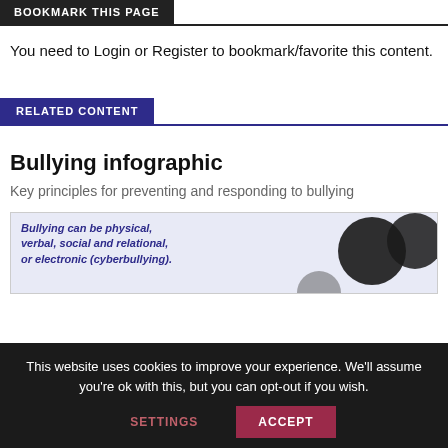BOOKMARK THIS PAGE
You need to Login or Register to bookmark/favorite this content.
RELATED CONTENT
Bullying infographic
Key principles for preventing and responding to bullying
[Figure (infographic): Bullying infographic preview showing text 'Bullying can be physical, verbal, social and relational, or electronic (cyberbullying).' with silhouette figures on the right]
This website uses cookies to improve your experience. We'll assume you're ok with this, but you can opt-out if you wish.
SETTINGS    ACCEPT